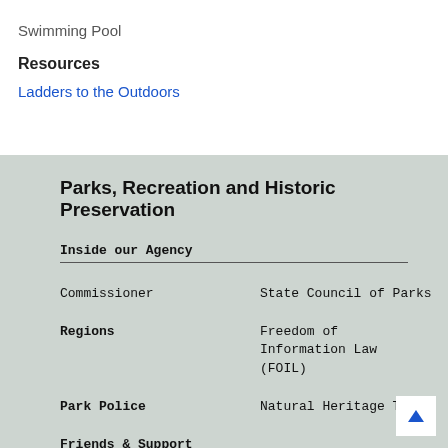Swimming Pool
Resources
Ladders to the Outdoors
Parks, Recreation and Historic Preservation
Inside our Agency
Commissioner
State Council of Parks
Regions
Freedom of Information Law (FOIL)
Park Police
Natural Heritage Trust
Friends & Support